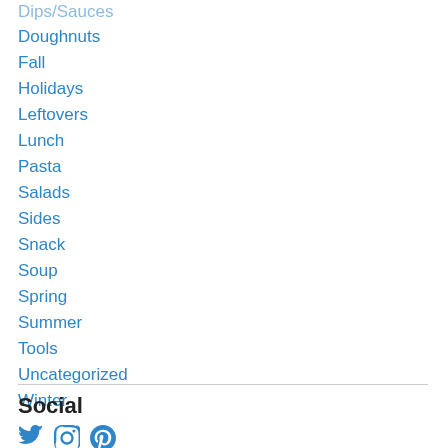Dips/Sauces
Doughnuts
Fall
Holidays
Leftovers
Lunch
Pasta
Salads
Sides
Snack
Soup
Spring
Summer
Tools
Uncategorized
Winter
Social